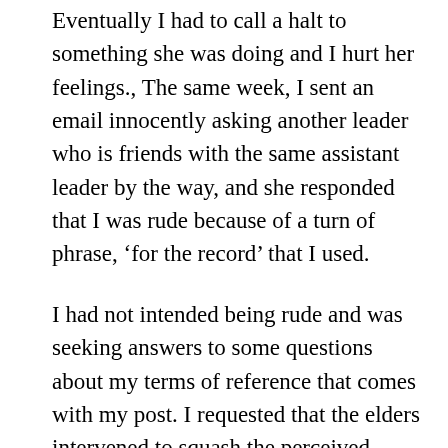Eventually I had to call a halt to something she was doing and I hurt her feelings., The same week, I sent an email innocently asking another leader who is friends with the same assistant leader by the way, and she responded that I was rude because of a turn of phrase, ‘for the record’ that I used.
I had not intended being rude and was seeking answers to some questions about my terms of reference that comes with my post. I requested that the elders intervened to squash the perceived conflict and emerged feeling a little scathed, and disillusioned that Christians can have such mighty chips on their shoulders. In the discussion, all these points you raised about fronts from my organizations began to fall